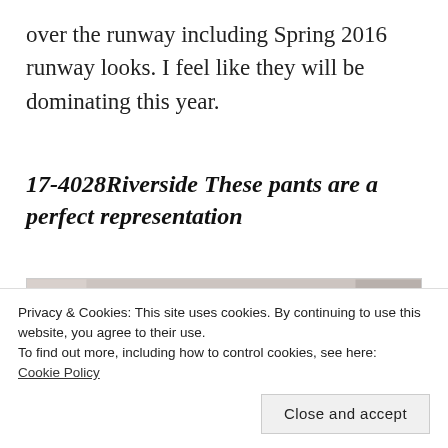over the runway including Spring 2016 runway looks. I feel like they will be dominating this year.
17-4028Riverside These pants are a perfect representation
[Figure (photo): A fashion runway photo showing a model with long wavy brown hair wearing dark clothing, photographed from mid-torso up.]
Privacy & Cookies: This site uses cookies. By continuing to use this website, you agree to their use.
To find out more, including how to control cookies, see here:
Cookie Policy
[Close and accept]